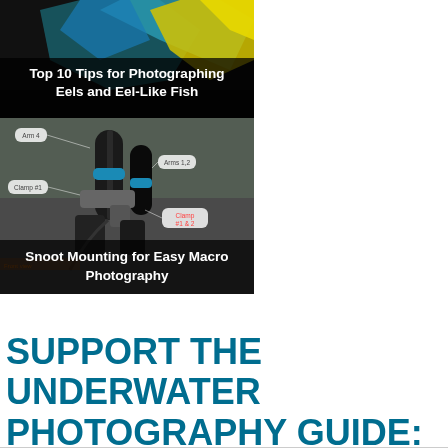[Figure (photo): Composite of two images stacked vertically on the left half of the page. Top: dark background with colorful bird/feather with white bold title text overlay reading 'Top 10 Tips for Photographing Eels and Eel-Like Fish'. Bottom: photograph of camera equipment with snoot mounting gear, with labeled callout bubbles (Arm 4, Arms 1,2, Clamp #1, Clamp #1 & 2) and a dark overlay title 'Snoot Mounting for Easy Macro Photography'.]
SUPPORT THE UNDERWATER PHOTOGRAPHY GUIDE: